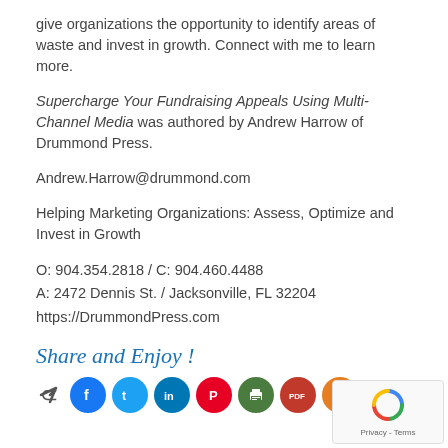give organizations the opportunity to identify areas of waste and invest in growth. Connect with me to learn more.
Supercharge Your Fundraising Appeals Using Multi-Channel Media was authored by Andrew Harrow of Drummond Press.
Andrew.Harrow@drummond.com
Helping Marketing Organizations: Assess, Optimize and Invest in Growth
O: 904.354.2818 / C: 904.460.4488
A: 2472 Dennis St. / Jacksonville, FL 32204
https://DrummondPress.com
Share and Enjoy !
[Figure (infographic): Social share icons row: share arrow, Facebook (blue), Twitter (light blue), LinkedIn (dark blue), Pinterest (red), print (green), PDF (dark red), plus (orange)]
[Figure (other): reCAPTCHA Privacy - Terms widget box in bottom right corner]